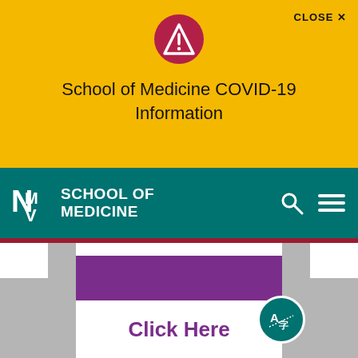[Figure (screenshot): Yellow banner with red warning circle containing exclamation triangle icon]
CLOSE ✕
School of Medicine COVID-19 Information
[Figure (logo): UNM School of Medicine logo in white on teal navbar with search and menu icons]
Access the Recordings
Click Here